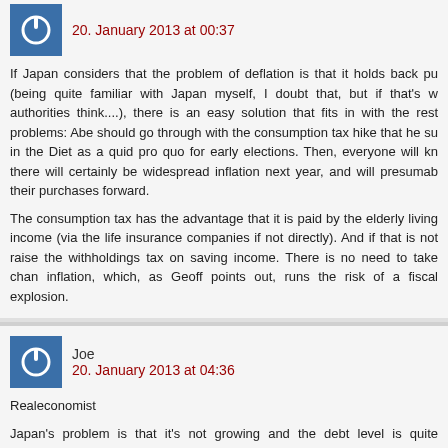[Figure (other): User avatar icon - blue square with white power button symbol]
20. January 2013 at 00:37
If Japan considers that the problem of deflation is that it holds back pu (being quite familiar with Japan myself, I doubt that, but if that's w authorities think....), there is an easy solution that fits in with the rest problems: Abe should go through with the consumption tax hike that he su in the Diet as a quid pro quo for early elections. Then, everyone will kn there will certainly be widespread inflation next year, and will presumab their purchases forward.
The consumption tax has the advantage that it is paid by the elderly living income (via the life insurance companies if not directly). And if that is not raise the withholdings tax on saving income. There is no need to take chan inflation, which, as Geoff points out, runs the risk of a fiscal explosion.
[Figure (other): User avatar icon - blue square with white power button symbol]
Joe
20. January 2013 at 04:36
Realeconomist
Japan's problem is that it's not growing and the debt level is quite astonishi
The inflation route, not higher taxes is the best one. The only problem is t cut out at midstream and they are left with a real mess.